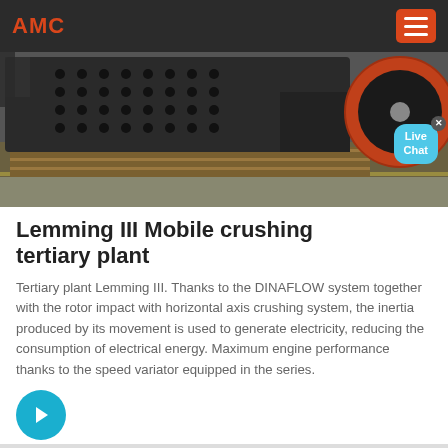AMC
[Figure (photo): Industrial mobile crushing machine with perforated metal body and orange/red wheel on the right side, resting on wooden pallets on a factory floor]
Lemming III Mobile crushing tertiary plant
Tertiary plant Lemming III. Thanks to the DINAFLOW system together with the rotor impact with horizontal axis crushing system, the inertia produced by its movement is used to generate electricity, reducing the consumption of electrical energy. Maximum engine performance thanks to the speed variator equipped in the series.